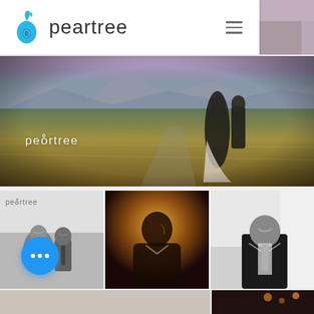[Figure (logo): Peartree logo with blue pear/droplet icon and 'peartree' wordmark in light gray font, with hamburger menu icon on right]
[Figure (photo): Wedding couple standing in a golden wheat field with mountains and purple sunset sky behind them. 'peartree' watermark text overlaid in white.]
[Figure (photo): Three-panel photo grid: left panel shows black and white photo of smiling older couple with 'peartree' watermark; center panel shows dramatic portrait of groom in warm light; right panel shows black and white photo of smiling older man in suit.]
[Figure (photo): Bottom strip showing partial views of two more photos: a light interior scene on the left and a moody candlelit scene on the right.]